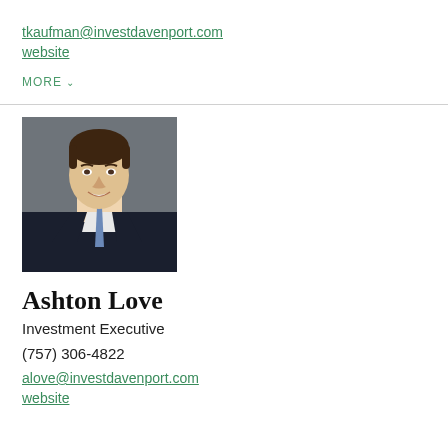tkaufman@investdavenport.com
website
MORE
[Figure (photo): Professional headshot of Ashton Love, a young man in a dark suit and blue tie, smiling, against a grey background.]
Ashton Love
Investment Executive
(757) 306-4822
alove@investdavenport.com
website